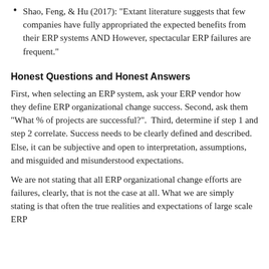Shao, Feng, & Hu (2017): “Extant literature suggests that few companies have fully appropriated the expected benefits from their ERP systems AND However, spectacular ERP failures are frequent.”
Honest Questions and Honest Answers
First, when selecting an ERP system, ask your ERP vendor how they define ERP organizational change success. Second, ask them “What % of projects are successful?”.  Third, determine if step 1 and step 2 correlate. Success needs to be clearly defined and described. Else, it can be subjective and open to interpretation, assumptions, and misguided and misunderstood expectations.
We are not stating that all ERP organizational change efforts are failures, clearly, that is not the case at all. What we are simply stating is that often the true realities and expectations of large scale ERP